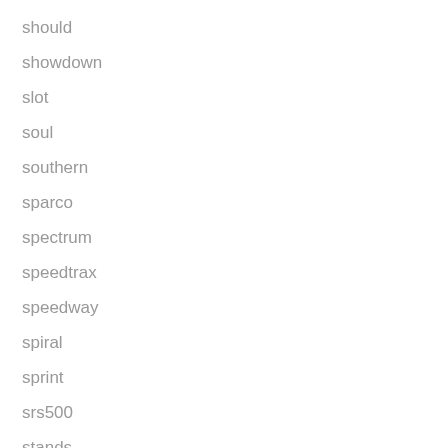should
showdown
slot
soul
southern
sparco
spectrum
speedtrax
speedway
spiral
sprint
srs500
stands
star
starter
steering
strombecker
strombecker132